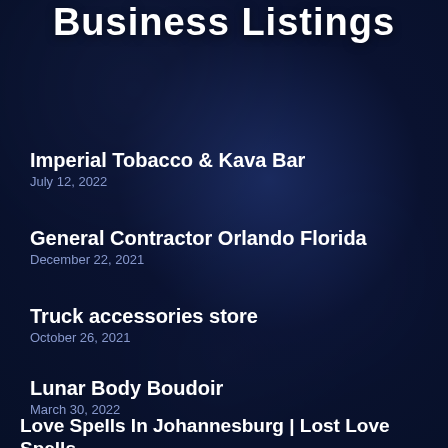Business Listings
Imperial Tobacco & Kava Bar
July 12, 2022
General Contractor Orlando Florida
December 22, 2021
Truck accessories store
October 26, 2021
Lunar Body Boudoir
March 30, 2022
Love Spells In Johannesburg | Lost Love Spells